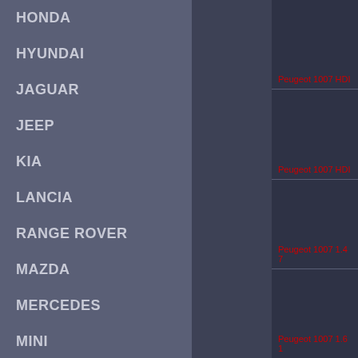HONDA
HYUNDAI
JAGUAR
JEEP
KIA
LANCIA
RANGE ROVER
MAZDA
MERCEDES
MINI
MITSUBISHI
NISSAN
Peugeot 1007 HDI
Peugeot 1007 HDI
Peugeot 1007 1.4 7
Peugeot 1007 1.6 1